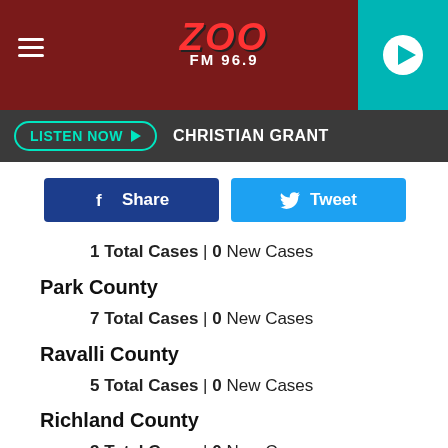[Figure (screenshot): ZOO FM 96.9 radio station website header with red background, hamburger menu icon, ZOO FM 96.9 logo in red italic text, and teal play button on the right]
LISTEN NOW ▶  CHRISTIAN GRANT
[Figure (screenshot): Facebook Share button (dark blue) and Twitter Tweet button (light blue) side by side]
1 Total Cases | 0 New Cases
Park County
7 Total Cases | 0 New Cases
Ravalli County
5 Total Cases | 0 New Cases
Richland County
3 Total Cases | 0 New Cases